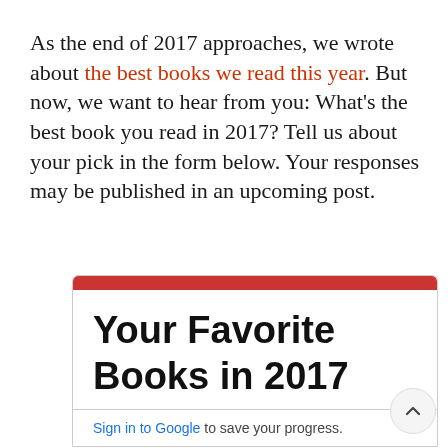As the end of 2017 approaches, we wrote about the best books we read this year. But now, we want to hear from you: What's the best book you read in 2017? Tell us about your pick in the form below. Your responses may be published in an upcoming post.
Your Favorite Books in 2017
Sign in to Google to save your progress.